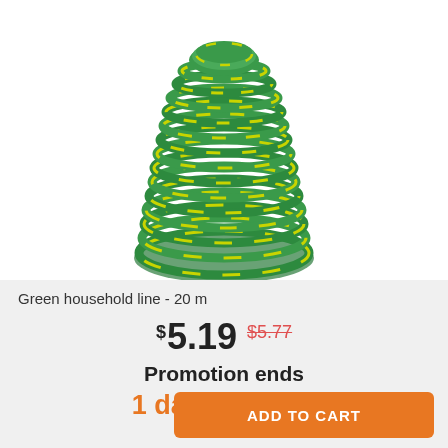[Figure (photo): A coiled bundle of green and yellow braided household rope/line, photographed on white background.]
Green household line - 20 m
$5.19  $5.77
Promotion ends
1 day 16:17:20
ADD TO CART